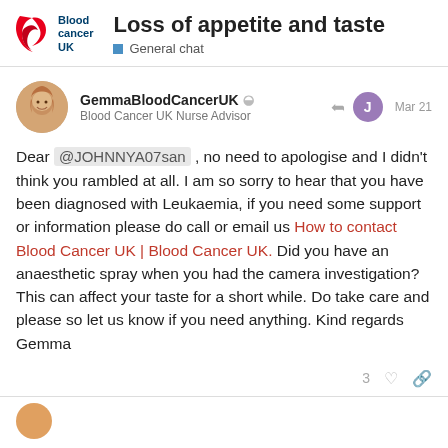Loss of appetite and taste — General chat — Blood Cancer UK
[Figure (logo): Blood Cancer UK logo with stylized red B and blue brand text]
Loss of appetite and taste
General chat
[Figure (photo): Round avatar photo of GemmaBloodCancerUK, a woman smiling]
GemmaBloodCancerUK ◑ Blood Cancer UK Nurse Advisor — Mar 21
Dear @JOHNNYA07san , no need to apologise and I didn't think you rambled at all. I am so sorry to hear that you have been diagnosed with Leukaemia, if you need some support or information please do call or email us How to contact Blood Cancer UK | Blood Cancer UK. Did you have an anaesthetic spray when you had the camera investigation? This can affect your taste for a short while. Do take care and please so let us know if you need anything. Kind regards Gemma